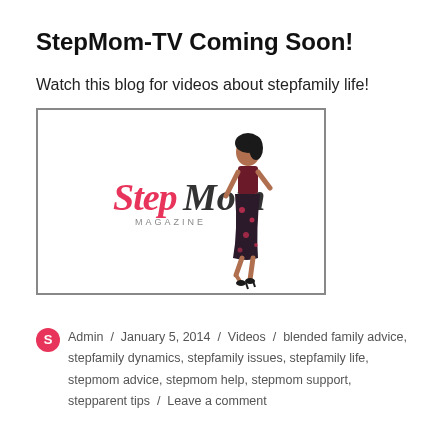StepMom-TV Coming Soon!
Watch this blog for videos about stepfamily life!
[Figure (illustration): StepMom Magazine logo with a woman in a floral skirt pose, pink brand text reading 'StepMom' with 'MAGAZINE' subtitle, inside a bordered rectangle.]
Admin / January 5, 2014 / Videos / blended family advice, stepfamily dynamics, stepfamily issues, stepfamily life, stepmom advice, stepmom help, stepmom support, stepparent tips / Leave a comment